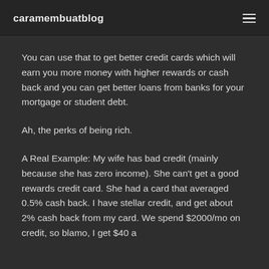caramembuatblog
You can use that to get better credit cards which will earn you more money with higher rewards or cash back and you can get better loans from banks for your mortgage or student debt.
Ah, the perks of being rich.
A Real Example: My wife has bad credit (mainly because she has zero income). She can't get a good rewards credit card. She had a card that averaged 0.5% cash back. I have stellar credit, and get about 2% cash back from my card. We spend $2000/mo on credit, so blamo, I get $40 a